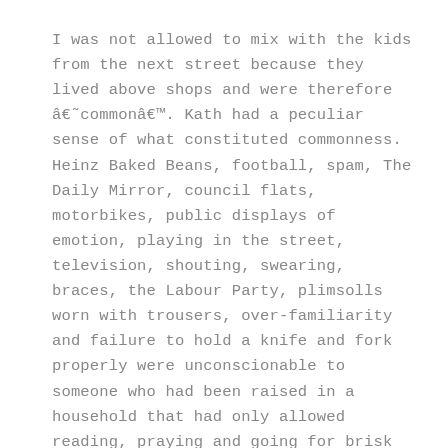I was not allowed to mix with the kids from the next street because they lived above shops and were therefore â€˜commonâ€™. Kath had a peculiar sense of what constituted commonness. Heinz Baked Beans, football, spam, The Daily Mirror, council flats, motorbikes, public displays of emotion, playing in the street, television, shouting, swearing, braces, the Labour Party, plimsolls worn with trousers, over-familiarity and failure to hold a knife and fork properly were unconscionable to someone who had been raised in a household that had only allowed reading, praying and going for brisk walks on the Sabbath. She didnâ€™t like loud coughing either, although she was prepared to excuse Mr Hill next door, who had a cough like a duckâ€™s